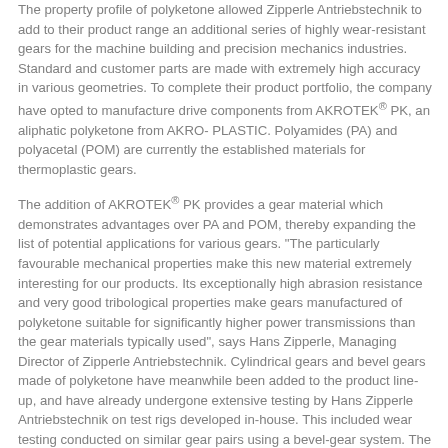The property profile of polyketone allowed Zipperle Antriebstechnik to add to their product range an additional series of highly wear-resistant gears for the machine building and precision mechanics industries. Standard and customer parts are made with extremely high accuracy in various geometries. To complete their product portfolio, the company have opted to manufacture drive components from AKROTEK® PK, an aliphatic polyketone from AKRO-PLASTIC. Polyamides (PA) and polyacetal (POM) are currently the established materials for thermoplastic gears.
The addition of AKROTEK® PK provides a gear material which demonstrates advantages over PA and POM, thereby expanding the list of potential applications for various gears. "The particularly favourable mechanical properties make this new material extremely interesting for our products. Its exceptionally high abrasion resistance and very good tribological properties make gears manufactured of polyketone suitable for significantly higher power transmissions than the gear materials typically used", says Hans Zipperle, Managing Director of Zipperle Antriebstechnik. Cylindrical gears and bevel gears made of polyketone have meanwhile been added to the product line-up, and have already undergone extensive testing by Hans Zipperle Antriebstechnik on test rigs developed in-house. This included wear testing conducted on similar gear pairs using a bevel-gear system. The tests demonstrated that the service life of AKROTEK® PK bevel gears can be extended significantly (see Tab. 1). Whereas POM and PA bevel gears show extreme signs of wear, polyketone bevel gears remained virtually wear-free following the same test period (see Figures 5-7), thereby increasing the useful life of the